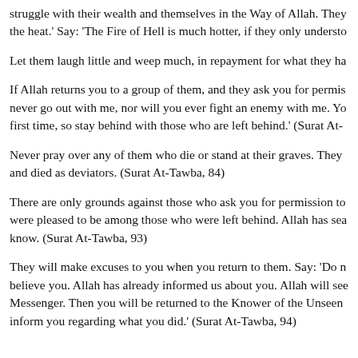struggle with their wealth and themselves in the Way of Allah. They the heat.' Say: 'The Fire of Hell is much hotter, if they only understo
Let them laugh little and weep much, in repayment for what they ha
If Allah returns you to a group of them, and they ask you for permis never go out with me, nor will you ever fight an enemy with me. Yo first time, so stay behind with those who are left behind.' (Surat At-
Never pray over any of them who die or stand at their graves. They and died as deviators. (Surat At-Tawba, 84)
There are only grounds against those who ask you for permission to were pleased to be among those who were left behind. Allah has sea know. (Surat At-Tawba, 93)
They will make excuses to you when you return to them. Say: 'Do n believe you. Allah has already informed us about you. Allah will see Messenger. Then you will be returned to the Knower of the Unseen inform you regarding what you did.' (Surat At-Tawba, 94)